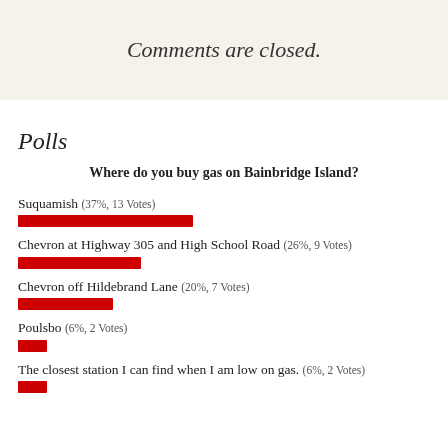Comments are closed.
Polls
Where do you buy gas on Bainbridge Island?
[Figure (bar-chart): Where do you buy gas on Bainbridge Island?]